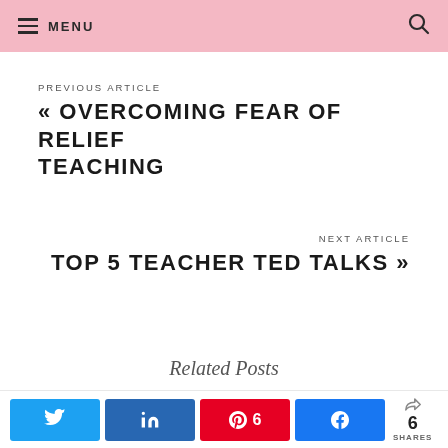MENU
PREVIOUS ARTICLE
« OVERCOMING FEAR OF RELIEF TEACHING
NEXT ARTICLE
TOP 5 TEACHER TED TALKS »
Related Posts